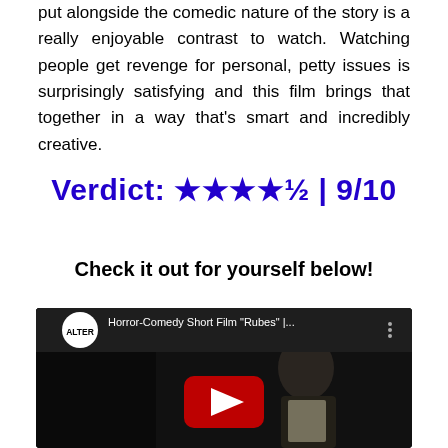put alongside the comedic nature of the story is a really enjoyable contrast to watch. Watching people get revenge for personal, petty issues is surprisingly satisfying and this film brings that together in a way that's smart and incredibly creative.
Verdict: ★★★★½ | 9/10
Check it out for yourself below!
[Figure (screenshot): YouTube video thumbnail showing a dark scene with a person, ALTER channel logo, title 'Horror-Comedy Short Film "Rubes" |...' with a three-dot menu icon and a YouTube play button overlay.]